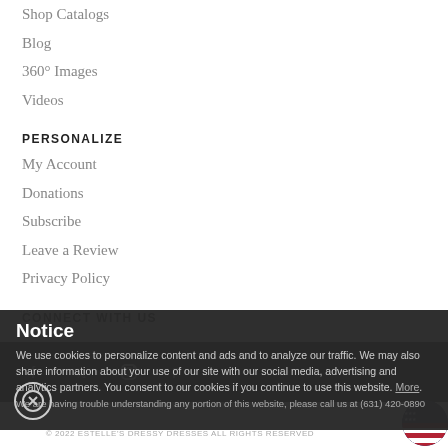Shop Catalogs
Blog
360° Images
Videos
PERSONALIZE
My Account
Donations
Subscribe
Leave a Review
Privacy Policy
CONNECT WITH US
[Figure (other): Social media icons: Facebook, Twitter, Instagram, Pinterest on dark background bar]
Notice
We use cookies to personalize content and ads and to analyze our traffic. We may also share information about your use of our site with our social media, advertising and analytics partners. You consent to our cookies if you continue to use this website. More.
We are having trouble understanding any portion of this website, please call us at (631) 420-0890
© 2022 ESTELLE'S DRESSY DRESSES ALL RIGHTS RESERVED